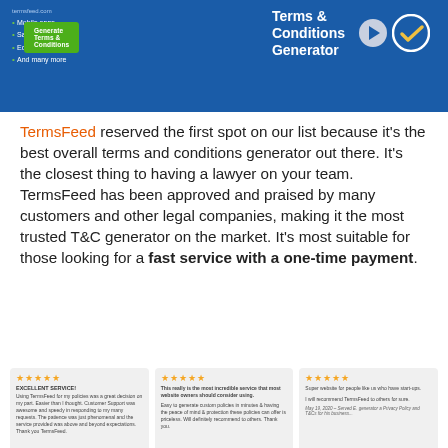[Figure (screenshot): TermsFeed Terms & Conditions Generator banner advertisement with blue background, bullet list of app types, green Generate button, play button icon and checkmark circle on right side]
TermsFeed reserved the first spot on our list because it's the best overall terms and conditions generator out there. It's the closest thing to having a lawyer on your team. TermsFeed has been approved and praised by many customers and other legal companies, making it the most trusted T&C generator on the market. It's most suitable for those looking for a fast service with a one-time payment.
[Figure (screenshot): Three customer review cards with 5-star ratings. Card 1: EXCELLENT SERVICE! - Using TermsFeed for my policies was a great decision on my part. Easier than I thought. Customer Support was awesome and speedy in responding to my many requests. The patience was just phenomenal and the service provided was above and beyond expectations. Thank you TermsFeed. Card 2: This really is the most incredible service that most website owners should consider using. Easy to generate custom policies in minutes & having the peace of mind & protection these policies can offer is priceless. Will definitely recommend to others. Thank you. Card 3: Super website for people like us who have start-ups. I will recommend TermsFeed to others for sure. May 19, 2020 - Served E. generator a Privacy Policy and T&Cs for his business.]